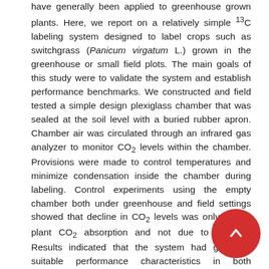have generally been applied to greenhouse grown plants. Here, we report on a relatively simple 13C labeling system designed to label crops such as switchgrass (Panicum virgatum L.) grown in the greenhouse or small field plots. The main goals of this study were to validate the system and establish performance benchmarks. We constructed and field tested a simple design plexiglass chamber that was sealed at the soil level with a buried rubber apron. Chamber air was circulated through an infrared gas analyzer to monitor CO2 levels within the chamber. Provisions were made to control temperatures and minimize condensation inside the chamber during labeling. Control experiments using the empty chamber both under greenhouse and field settings showed that decline in CO2 levels was only due to plant CO2 absorption and not due to leakage. Results indicated that the system had generally suitable performance characteristics in both greenhouse and field settings. Isotope enrichment data from our studies revealed that switchgrass fixed 13CO2 that was injected into the chamber within 15-20 min labeling periods. The mean and standard deviation of leaf δ13C values across nine plants enclosed in the chamber was 3... ± 8.9 and 96.1 ± 23.6 for the single and double labeling experiments, respectively. Results indicate that a chamber of this construction type can be effectively used also for labeling other crop plants.